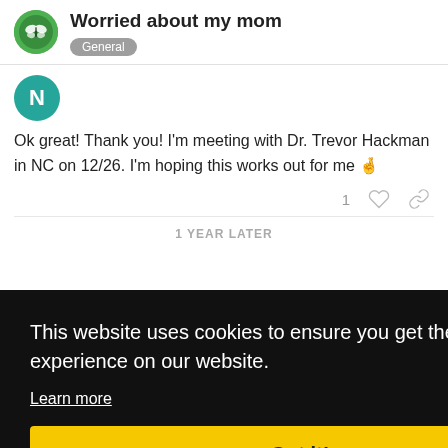Worried about my mom | General
[Figure (illustration): Green circular avatar with butterfly icon for the forum/app logo]
Ok great! Thank you! I'm meeting with Dr. Trevor Hackman in NC on 12/26. I'm hoping this works out for me 🤞
1 YEAR LATER
This website uses cookies to ensure you get the best experience on our website.
Learn more
Got it!
Mar '21
t Palm
reat!
9